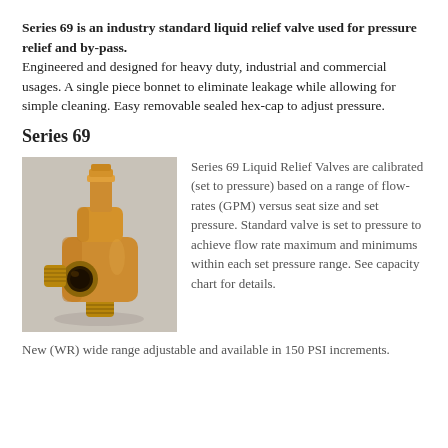Series 69 is an industry standard liquid relief valve used for pressure relief and by-pass. Engineered and designed for heavy duty, industrial and commercial usages. A single piece bonnet to eliminate leakage while allowing for simple cleaning. Easy removable sealed hex-cap to adjust pressure.
Series 69
[Figure (photo): Photo of a Series 69 brass/bronze liquid relief valve with threaded fittings and a circular port opening, on a gray background.]
Series 69 Liquid Relief Valves are calibrated (set to pressure) based on a range of flow-rates (GPM) versus seat size and set pressure. Standard valve is set to pressure to achieve flow rate maximum and minimums within each set pressure range. See capacity chart for details.
New (WR) wide range adjustable and available in 150 PSI increments.